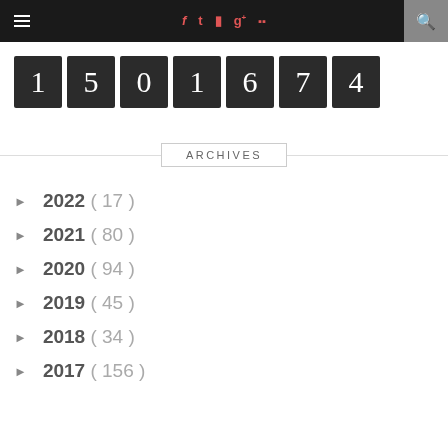≡ f t g+ yt 🔍
[Figure (other): Odometer/counter display showing the number 1501674 in dark tile blocks with white serif digits]
ARCHIVES
► 2022 ( 17 )
► 2021 ( 80 )
► 2020 ( 94 )
► 2019 ( 45 )
► 2018 ( 34 )
► 2017 ( 156 )